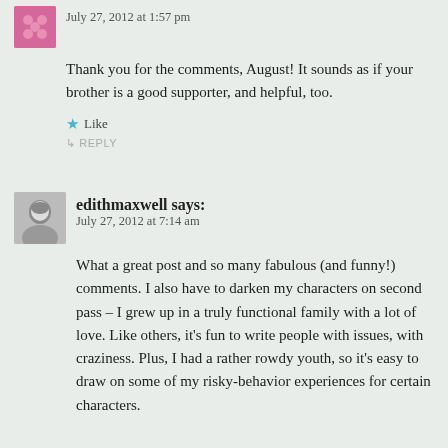July 27, 2012 at 1:57 pm
Thank you for the comments, August! It sounds as if your brother is a good supporter, and helpful, too.
↳ REPLY
edithmaxwell says:
July 27, 2012 at 7:14 am
What a great post and so many fabulous (and funny!) comments. I also have to darken my characters on second pass – I grew up in a truly functional family with a lot of love. Like others, it's fun to write people with issues, with craziness. Plus, I had a rather rowdy youth, so it's easy to draw on some of my risky-behavior experiences for certain characters.